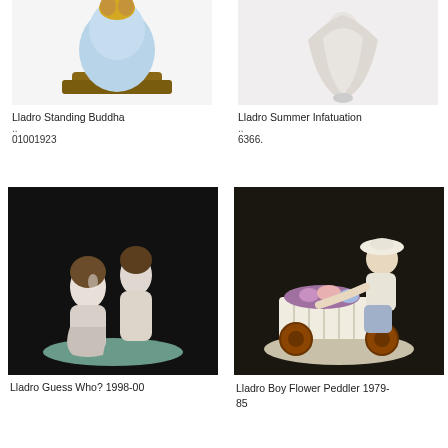[Figure (photo): Lladro Standing Buddha figurine on wooden base, partially cropped at top]
[Figure (photo): Lladro Summer Infatuation figurine, white robed figure, partially cropped at top]
Lladro Standing Buddha
..
01001923
Lladro Summer Infatuation
..
6366.
[Figure (photo): Lladro Guess Who? 1998-00 figurine, two girls kneeling on dark background]
[Figure (photo): Lladro Boy Flower Peddler 1979-85 figurine, boy with flower cart on dark background]
Lladro Guess Who? 1998-00
Lladro Boy Flower Peddler 1979-85